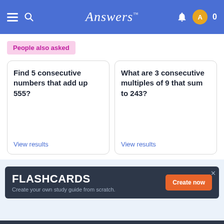Answers
People also asked
Find 5 consecutive numbers that add up 555?
View results
What are 3 consecutive multiples of 9 that sum to 243?
View results
[Figure (screenshot): FLASHCARDS advertisement banner: 'FLASHCARDS - Create your own study guide from scratch.' with an orange 'Create now' button on a dark background]
[Figure (screenshot): FLASHCARDS advertisement banner (dark): 'FLASHCARDS - Create your own study guide from scratch.' with an orange 'Create now' button]